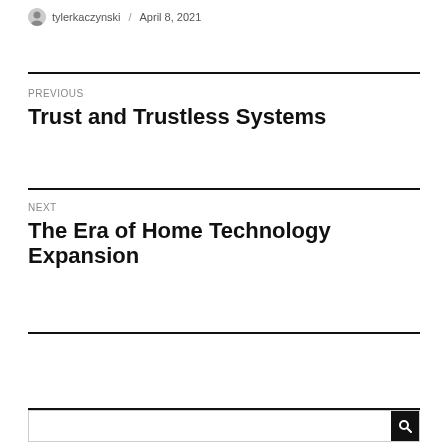tylerkaczynski / April 8, 2021
PREVIOUS
Trust and Trustless Systems
NEXT
The Era of Home Technology Expansion